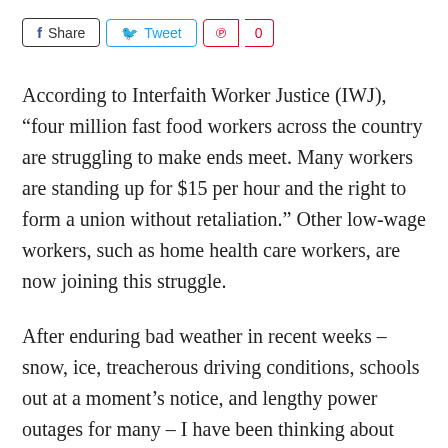[Figure (other): Social media share buttons: Facebook Share, Twitter Tweet, Pinterest with count 0]
According to Interfaith Worker Justice (IWJ), “four million fast food workers across the country are struggling to make ends meet. Many workers are standing up for $15 per hour and the right to form a union without retaliation.” Other low-wage workers, such as home health care workers, are now joining this struggle.
After enduring bad weather in recent weeks – snow, ice, treacherous driving conditions, schools out at a moment’s notice, and lengthy power outages for many – I have been thinking about low wage workers. They  get no paid leave – no sick leave, no